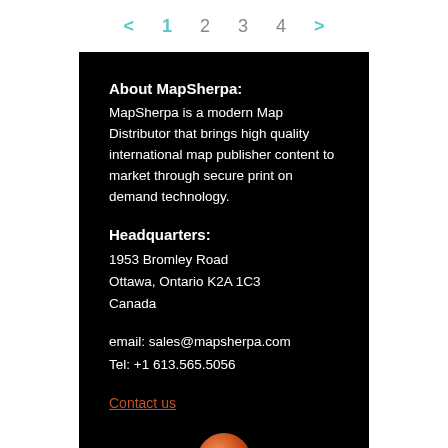< 1 2 3 4 >
About MapSherpa:
MapSherpa is a modern Map Distributor that brings high quality international map publisher content to market through secure print on demand technology.
Headquarters:
1953 Bromley Road
Ottawa, Ontario K2A 1C3
Canada
email: sales@mapsherpa.com
Tel: +1 613.565.5056
Contact us
[Figure (logo): MapSherpa circular logo — orange/red gradient sphere with white M letter mark]